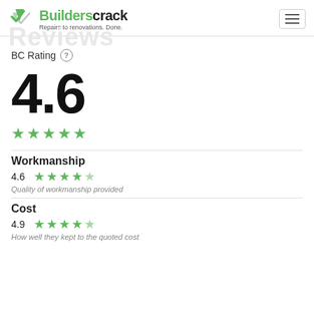Builderscrack — Repairs to renovations. Done.
BC Rating ?
4.6
[Figure (other): 5 green stars rating display (overall 4.6)]
Workmanship
4.6
[Figure (other): 4.6 green stars rating for Workmanship]
Quality of workmanship provided
Cost
4.9
[Figure (other): 4.9 green stars rating for Cost]
How well they kept to the quoted cost